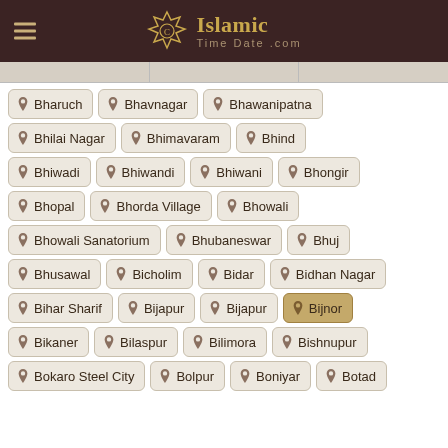Islamic Time Date .com
Bharuch
Bhavnagar
Bhawanipatna
Bhilai Nagar
Bhimavaram
Bhind
Bhiwadi
Bhiwandi
Bhiwani
Bhongir
Bhopal
Bhorda Village
Bhowali
Bhowali Sanatorium
Bhubaneswar
Bhuj
Bhusawal
Bicholim
Bidar
Bidhan Nagar
Bihar Sharif
Bijapur
Bijapur
Bijnor
Bikaner
Bilaspur
Bilimora
Bishnupur
Bokaro Steel City
Bolpur
Boniyar
Botad